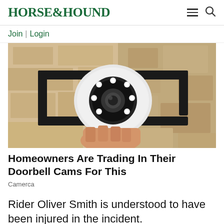HORSE&HOUND
Join | Login
[Figure (photo): Close-up photo of a white outdoor security/surveillance camera mounted on a black metal bracket against a textured stone or stucco wall]
Homeowners Are Trading In Their Doorbell Cams For This
Camerca
Rider Oliver Smith is understood to have been injured in the incident.